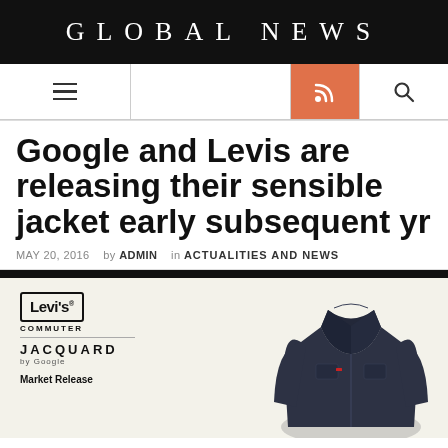GLOBAL NEWS
[Figure (screenshot): Navigation bar with hamburger menu, RSS feed button (orange), and search icon]
Google and Levis are releasing their sensible jacket early subsequent yr
MAY 20, 2016   by ADMIN   in ACTUALITIES AND NEWS
[Figure (photo): Promotional image showing Levi's Commuter Jacquard by Google branding on left, and a dark denim jacket on the right. Text reads: Market Release]